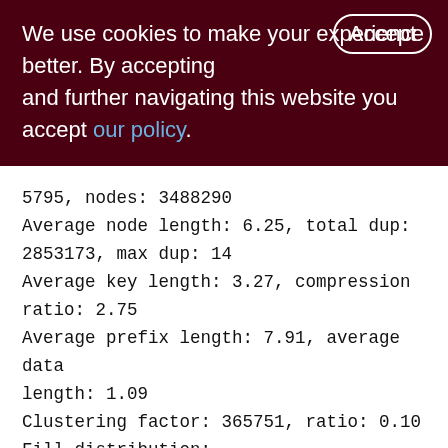We use cookies to make your experience better. By accepting and further navigating this website you accept our policy.
5795, nodes: 3488290
Average node length: 6.25, total dup: 2853173, max dup: 14
Average key length: 3.27, compression ratio: 2.75
Average prefix length: 7.91, average data length: 1.09
Clustering factor: 365751, ratio: 0.10
Fill distribution:
0 - 19% = 199
20 - 39% = 2213
40 - 59% = 2174
60 - 79% = 337